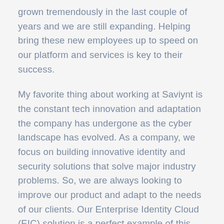grown tremendously in the last couple of years and we are still expanding. Helping bring these new employees up to speed on our platform and services is key to their success.
My favorite thing about working at Saviynt is the constant tech innovation and adaptation the company has undergone as the cyber landscape has evolved. As a company, we focus on building innovative identity and security solutions that solve major industry problems. So, we are always looking to improve our product and adapt to the needs of our clients. Our Enterprise Identity Cloud (EIC) solution is a perfect example of this consistent commitment to creating smarter security solutions.